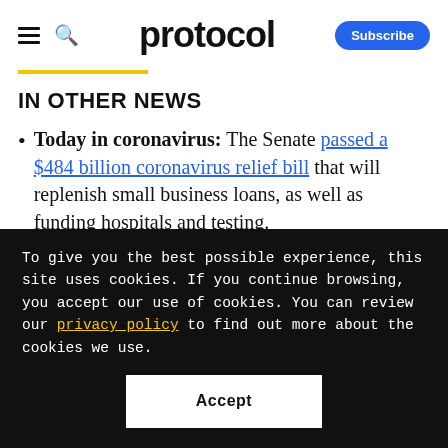protocol  Subscribe
IN OTHER NEWS
Today in coronavirus: The Senate passed a $484 billion coronavirus relief bill that will replenish small business loans, as well as funding hospitals and testing.
To give you the best possible experience, this site uses cookies. If you continue browsing, you accept our use of cookies. You can review our privacy policy to find out more about the cookies we use.
Accept